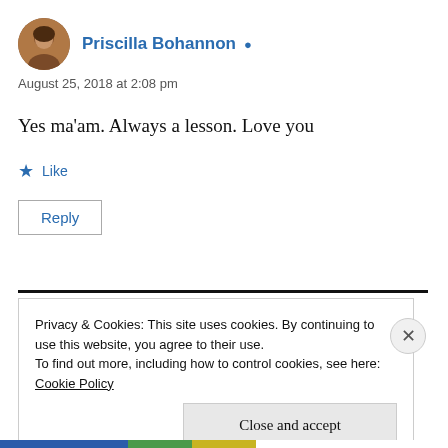Priscilla Bohannon
August 25, 2018 at 2:08 pm
Yes ma'am. Always a lesson. Love you
Like
Reply
Privacy & Cookies: This site uses cookies. By continuing to use this website, you agree to their use.
To find out more, including how to control cookies, see here: Cookie Policy
Close and accept